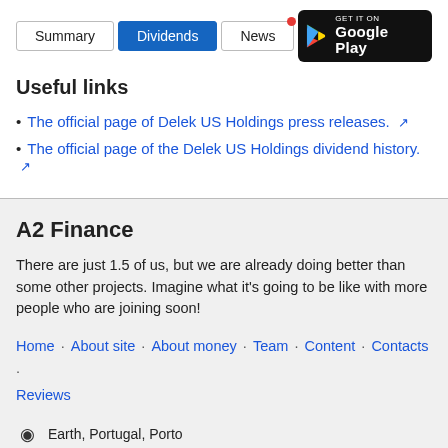Summary | Dividends | News | GET IT ON Google Play
Useful links
The official page of Delek US Holdings press releases.
The official page of the Delek US Holdings dividend history.
A2 Finance
There are just 1.5 of us, but we are already doing better than some other projects. Imagine what it's going to be like with more people who are joining soon!
Home · About site · About money · Team · Content · Contacts · Reviews
Earth, Portugal, Porto
+ 7 952 237 95 15